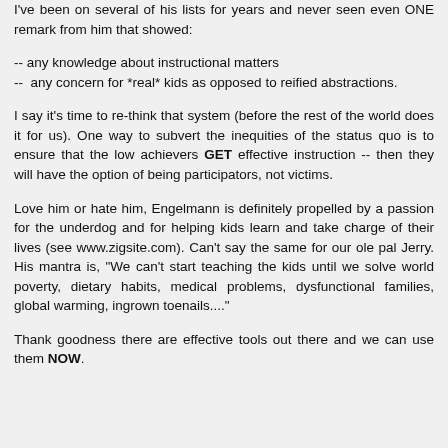I've been on several of his lists for years and never seen even ONE remark from him that showed:
-- any knowledge about instructional matters
-- any concern for *real* kids as opposed to reified abstractions.
I say it's time to re-think that system (before the rest of the world does it for us). One way to subvert the inequities of the status quo is to ensure that the low achievers GET effective instruction -- then they will have the option of being participators, not victims.
Love him or hate him, Engelmann is definitely propelled by a passion for the underdog and for helping kids learn and take charge of their lives (see www.zigsite.com). Can't say the same for our ole pal Jerry. His mantra is, "We can't start teaching the kids until we solve world poverty, dietary habits, medical problems, dysfunctional families, global warming, ingrown toenails...."
Thank goodness there are effective tools out there and we can use them NOW.